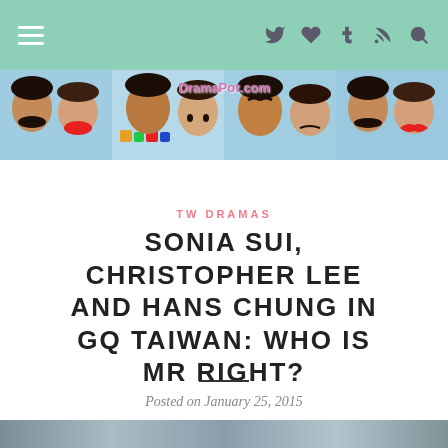Navigation bar with hamburger menu and social icons (Twitter, heart, Tumblr, RSS, search)
[Figure (photo): Banner collage of photos showing Sonia Sui, Christopher Lee and Hans Chung with funny props (fake mustaches and lips), light blue background, with DramaPot.com text overlay]
TW DRAMAS
SONIA SUI, CHRISTOPHER LEE AND HANS CHUNG IN GQ TAIWAN: WHO IS MR RIGHT?
Posted on January 25, 2015
[Figure (photo): Bottom partial image strip, appears to be another photo partially visible at the bottom of the page]